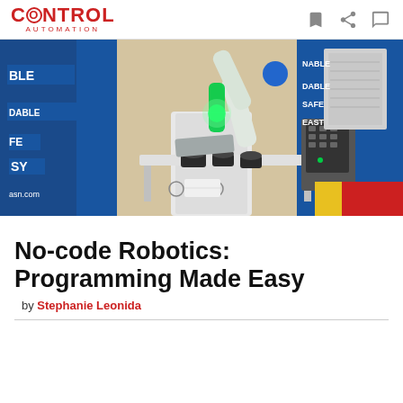CONTROL AUTOMATION
[Figure (photo): A collaborative robotic arm with a green glowing light on its end effector, positioned over a white industrial table with cylindrical black parts. Blue branded banners are visible in the background. A tablet/controller is visible on the right side.]
No-code Robotics: Programming Made Easy
by Stephanie Leonida